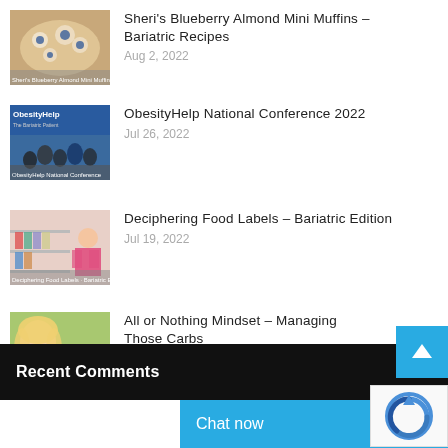[Figure (photo): Thumbnail of blueberry almond mini muffins in a bowl]
Sheri's Blueberry Almond Mini Muffins – Bariatric Recipes
Aug 2, 2022
[Figure (photo): Thumbnail of ObesityHelp National Conference 2022]
ObesityHelp National Conference 2022
Jul 26, 2022
[Figure (photo): Thumbnail of woman reading food label in grocery store]
Deciphering Food Labels – Bariatric Edition
Jul 19, 2022
[Figure (photo): Thumbnail of woman with fruits – All or Nothing Mindset]
All or Nothing Mindset – Managing Those Carbs
Jun 22, 2022
Recent Comments